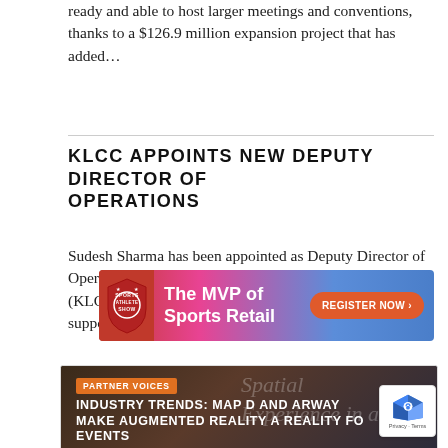ready and able to host larger meetings and conventions, thanks to a $126.9 million expansion project that has added...
KLCC APPOINTS NEW DEPUTY DIRECTOR OF OPERATIONS
Sudesh Sharma has been appointed as Deputy Director of Operations of the Kuala Lumpur Convention Centre (KLCC). The new role is part of a plan to create internal support and...
[Figure (infographic): Banner advertisement for Sports Athlete Show - The MVP of Sports Retail with Register Now button]
[Figure (infographic): Partner Voices card: Industry Trends: Map D and Arway Make Augmented Reality a Reality for Events]